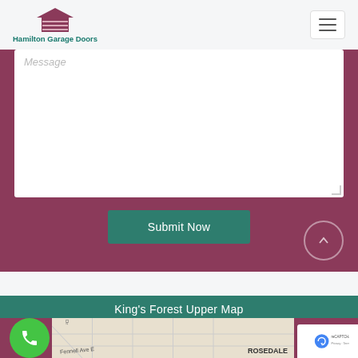Hamilton Garage Doors
[Figure (screenshot): Contact form section on Hamilton Garage Doors website showing a message textarea with placeholder text 'Message', a 'Submit Now' teal button, and a scroll-up circle button, all on a dark rose/mauve background.]
King's Forest Upper Map
[Figure (map): Map showing King's Forest Upper area with streets including Fennell Ave E and ROSEDALE label visible, with a green phone call button overlay and reCAPTCHA badge.]